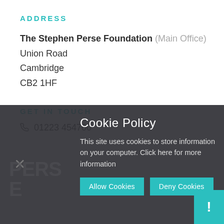ADDRESS
The Stephen Perse Foundation (Main Office)
Union Road
Cambridge
CB2 1HF
GET IN TOUCH
01223 454700
Cookie Policy
This site uses cookies to store information on your computer. Click here for more information